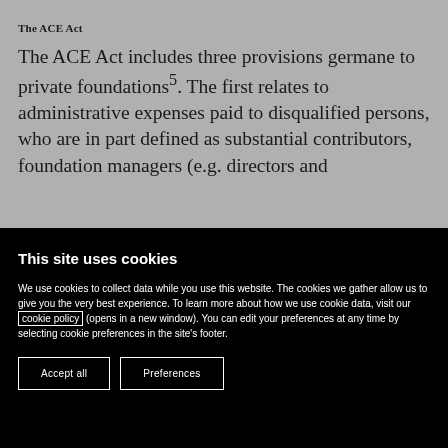The ACE Act
The ACE Act includes three provisions germane to private foundations⁵. The first relates to administrative expenses paid to disqualified persons, who are in part defined as substantial contributors, foundation managers (e.g. directors and
This site uses cookies
We use cookies to collect data while you use this website. The cookies we gather allow us to give you the very best experience. To learn more about how we use cookie data, visit our cookie policy (opens in a new window). You can edit your preferences at any time by selecting cookie preferences in the site’s footer.
Accept all | Preferences